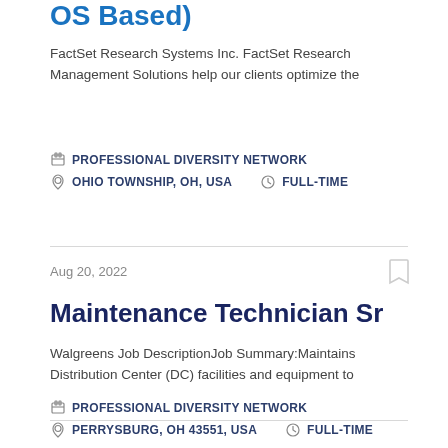OS Based)
FactSet Research Systems Inc. FactSet Research Management Solutions help our clients optimize the
PROFESSIONAL DIVERSITY NETWORK
OHIO TOWNSHIP, OH, USA    FULL-TIME
Aug 20, 2022
Maintenance Technician Sr
Walgreens Job DescriptionJob Summary:Maintains Distribution Center (DC) facilities and equipment to
PROFESSIONAL DIVERSITY NETWORK
PERRYSBURG, OH 43551, USA    FULL-TIME